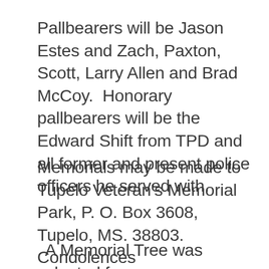Pallbearers will be Jason Estes and Zach, Paxton, Scott, Larry Allen and Brad McCoy.  Honorary pallbearers will be the Edward Shift from TPD and all former and present police officers he served with.
Memorials may be made to Tupelo Veteran’s Memorial Park, P. O. Box 3608, Tupelo, MS. 38803. Condolences
A Memorial Tree was planted for